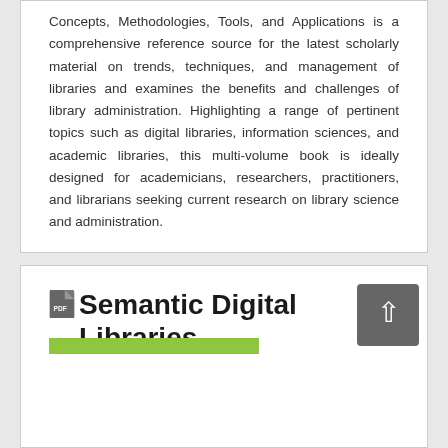Concepts, Methodologies, Tools, and Applications is a comprehensive reference source for the latest scholarly material on trends, techniques, and management of libraries and examines the benefits and challenges of library administration. Highlighting a range of pertinent topics such as digital libraries, information sciences, and academic libraries, this multi-volume book is ideally designed for academicians, researchers, practitioners, and librarians seeking current research on library science and administration.
Semantic Digital Libraries